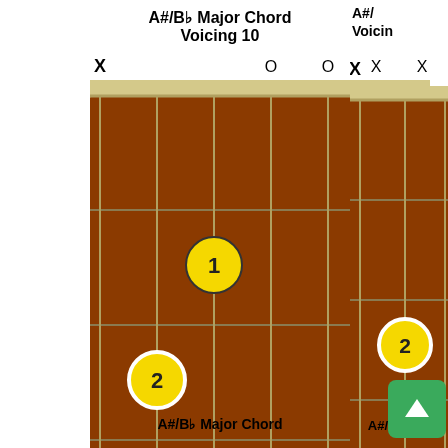A#/Bb Major Chord
Voicing 10
[Figure (illustration): Guitar chord diagram for A#/Bb Major Chord Voicing 10. Strings marked X O O X X at top. Finger 1 on 2nd string 3rd fret area, Finger 2 on 1st string with open circle. Note labels below: A#/Bb, D, F, A#/Bb]
A#/Bb   D   F   A#/Bb
© www.StringMusic.info
A#/Bb Major Chord
[Figure (illustration): Partial guitar chord diagram on right side, partially cut off. Shows X marking, Finger 2 visible. Note label A#/Bb below.]